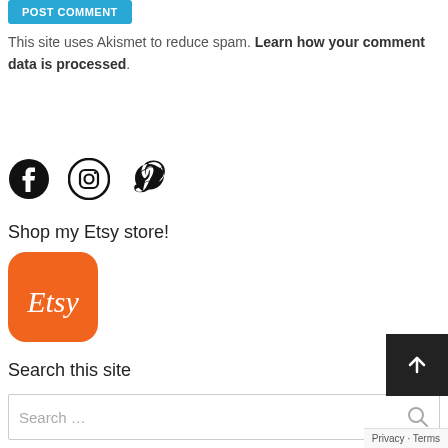[Figure (other): Blue 'Post Comment' button (partially cropped at top)]
This site uses Akismet to reduce spam. Learn how your comment data is processed.
[Figure (other): Social media icons: Facebook, Instagram, Pinterest]
Shop my Etsy store!
[Figure (logo): Etsy logo — orange rounded square with white 'Etsy' text]
Search this site
Search ...